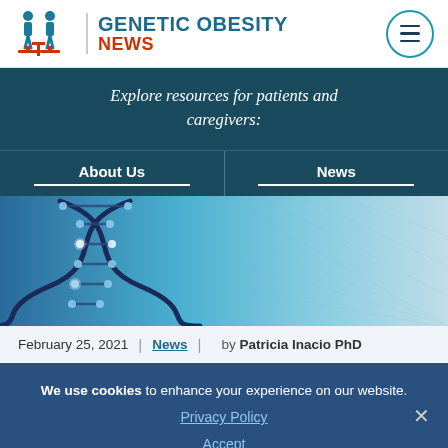[Figure (logo): Genetic Obesity News logo with two human figures and DNA icon on left, bold teal text 'GENETIC OBESITY NEWS' on right, hamburger menu circle on far right]
Explore resources for patients and caregivers:
About Us | News
[Figure (photo): Close-up photo of a blue-toned DNA double helix on a digital grid background]
February 25, 2021 | News | by Patricia Inacio PhD
We use cookies to enhance your experience on our website. Privacy Policy Accept